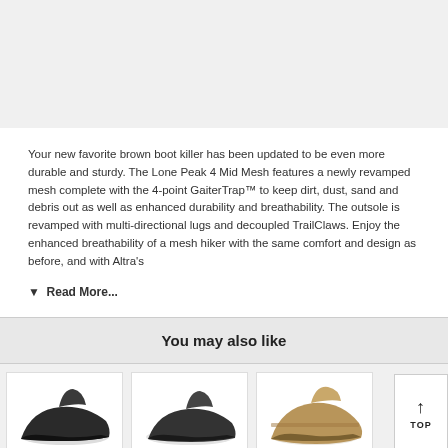Your new favorite brown boot killer has been updated to be even more durable and sturdy. The Lone Peak 4 Mid Mesh features a newly revamped mesh complete with the 4-point GaiterTrap™ to keep dirt, dust, sand and debris out as well as enhanced durability and breathability. The outsole is revamped with multi-directional lugs and decoupled TrailClaws. Enjoy the enhanced breathability of a mesh hiker with the same comfort and design as before, and with Altra's
▼  Read More...
You may also like
[Figure (photo): Three product cards showing shoes: two black hiking shoes and one tan/brown hiking boot, with a TOP button overlay on the right]